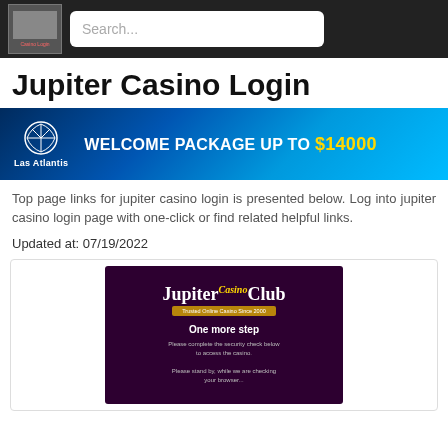Search...
Jupiter Casino Login
[Figure (infographic): Las Atlantis casino banner with blue glowing background showing WELCOME PACKAGE UP TO $14000]
Top page links for jupiter casino login is presented below. Log into jupiter casino login page with one-click or find related helpful links.
Updated at: 07/19/2022
[Figure (screenshot): Jupiter Club Casino login page screenshot showing dark maroon background with Jupiter Club Casino logo, One more step heading, security check message and browser check message]